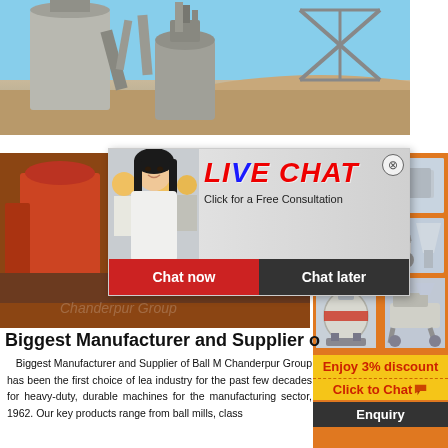[Figure (photo): Industrial machinery — silos and mills at a manufacturing site, outdoor scene with blue sky]
[Figure (photo): Heavy industrial crushing/grinding machinery at a plant site with orange/red and grey tones]
[Figure (screenshot): Live chat popup with workers in hard hats, 'LIVE CHAT' text, 'Click for a Free Consultation', Chat now / Chat later buttons]
[Figure (photo): Right orange panel with images of industrial machines (crusher, conveyor, ball mill), 'Enjoy 3% discount', 'Click to Chat', and 'Enquiry' sections]
Biggest Manufacturer and Supplier of B
Biggest Manufacturer and Supplier of Ball M Chanderpur Group has been the first choice of lea industry for the past few decades for heavy-duty, durable machines for the manufacturing sector, 1962. Our key products range from ball mills, class